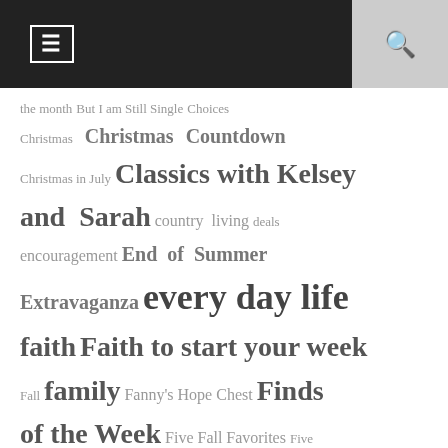☰ [menu icon] [search icon]
the month But I am Still Single Choices Christmas Christmas Countdown Christmas in July Classics with Kelsey and Sarah country living deals encouragement End of Summer Extravaganza every day life faith Faith to start your week Fall family Fanny's Hope Chest Finds of the Week Five Fall Favorites Five Little Women free friends giveaway goals Guest Writer history holiday Holman Writing Adventure homemaking homeschool authors homeschooling interview Kate's Case Files Keys to Saving Laughter in Our Home